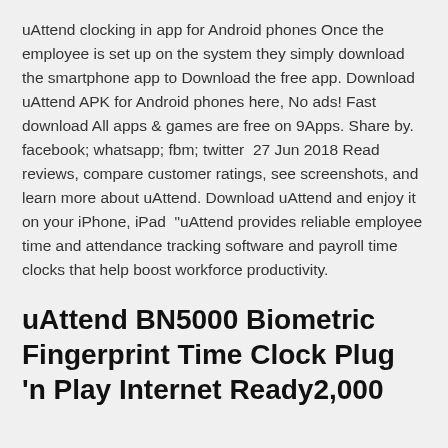uAttend clocking in app for Android phones Once the employee is set up on the system they simply download the smartphone app to Download the free app. Download uAttend APK for Android phones here, No ads! Fast download All apps & games are free on 9Apps. Share by. facebook; whatsapp; fbm; twitter  27 Jun 2018 Read reviews, compare customer ratings, see screenshots, and learn more about uAttend. Download uAttend and enjoy it on your iPhone, iPad  "uAttend provides reliable employee time and attendance tracking software and payroll time clocks that help boost workforce productivity.
uAttend BN5000 Biometric Fingerprint Time Clock Plug 'n Play Internet Ready2,000